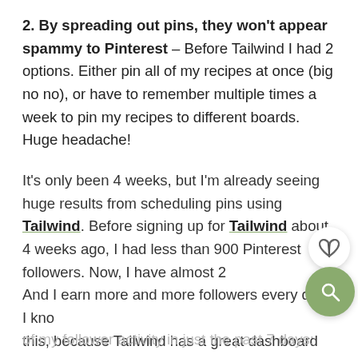2. By spreading out pins, they won't appear spammy to Pinterest – Before Tailwind I had 2 options. Either pin all of my recipes at once (big no no), or have to remember multiple times a week to pin my recipes to different boards. Huge headache!
It's only been 4 weeks, but I'm already seeing huge results from scheduling pins using Tailwind. Before signing up for Tailwind about 4 weeks ago, I had less than 900 Pinterest followers. Now, I have almost 25[00]. And I earn more and more followers every day! I know this, because Tailwind has a great dashboard where reports your Pinterest stats for you. Here is a snap shot of my follower activity in just the past 7 days: